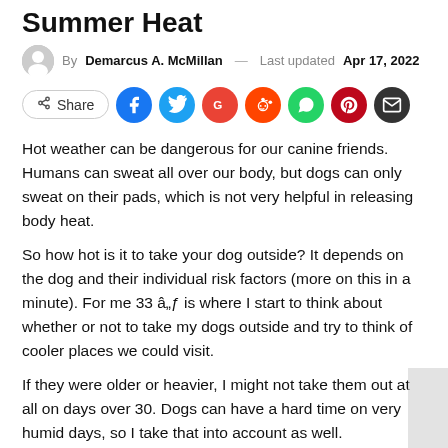Summer Heat
By Demarcus A. McMillan — Last updated Apr 17, 2022
[Figure (infographic): Social share buttons row: Share button, Facebook, Twitter, Google, Reddit, WhatsApp, Pinterest, Email]
Hot weather can be dangerous for our canine friends. Humans can sweat all over our body, but dogs can only sweat on their pads, which is not very helpful in releasing body heat.
So how hot is it to take your dog outside? It depends on the dog and their individual risk factors (more on this in a minute). For me 33 â„ƒ is where I start to think about whether or not to take my dogs outside and try to think of cooler places we could visit.
If they were older or heavier, I might not take them out at all on days over 30. Dogs can have a hard time on very humid days, so I take that into account as well.